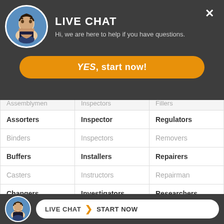[Figure (screenshot): Live chat overlay widget at top with avatar photo, title LIVE CHAT, subtitle, YES start now button, and close X button]
| Assemblymen (partial) | Inspectors (partial) | Fillers (partial) |
| Assorters | Inspector | Regulators |
| Binders | Inspectors | Removers |
| Buffers | Installers | Repairers |
| Casters | Instructors | Repairman |
| Changers | Investigators | Researchers |
| Cleaners | Laborers | Rewinders |
| Coaters | Lay Out | Sawyers |
[Figure (screenshot): Live Chat START NOW button bar at the bottom with small avatar photo]